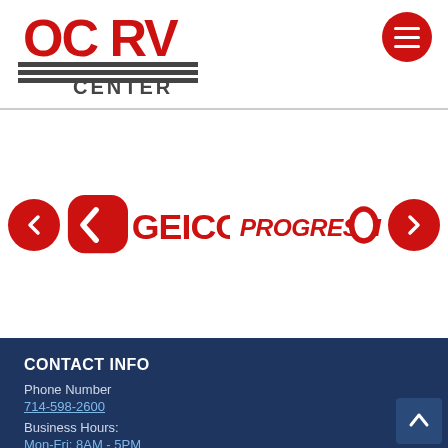[Figure (logo): OC RV Center logo in red and dark gray with horizontal lines and CENTER text]
[Figure (logo): GEICO logo in red with arrow icon, and PROGRESSIVE logo in red italic text with arrow icon, displayed as insurance partner carousel]
CONTACT INFO
Phone Number
714-598-2600
Business Hours:
Mon-Fri: 8AM - 5PM